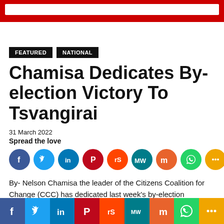FEATURED   NATIONAL
Chamisa Dedicates By-election Victory To Tsvangirai
31 March 2022
Spread the love
[Figure (infographic): Social sharing icons row: Facebook, Twitter, LinkedIn, Pinterest, Reddit, MeWe, Mix, WhatsApp, More]
By- Nelson Chamisa the leader of the Citizens Coalition for Change (CCC) has dedicated last week's by-election
[Figure (infographic): Bottom social sharing bar: Facebook, Twitter, LinkedIn, Pinterest, Reddit, MeWe, Mix, WhatsApp, More]